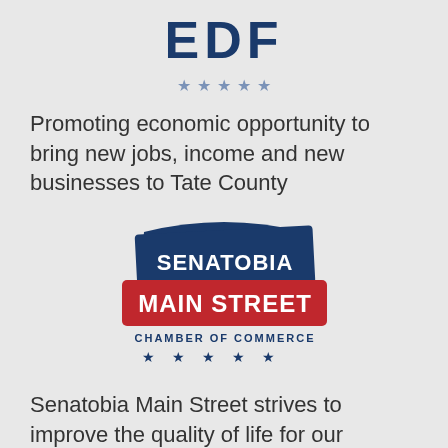[Figure (logo): EDF logo with bold blue text and five small blue stars below]
Promoting economic opportunity to bring new jobs, income and new businesses to Tate County
[Figure (logo): Senatobia Main Street Chamber of Commerce logo with dark blue banner reading SENATOBIA and red banner reading MAIN STREET, with CHAMBER OF COMMERCE text and five blue stars below]
Senatobia Main Street strives to improve the quality of life for our residents.